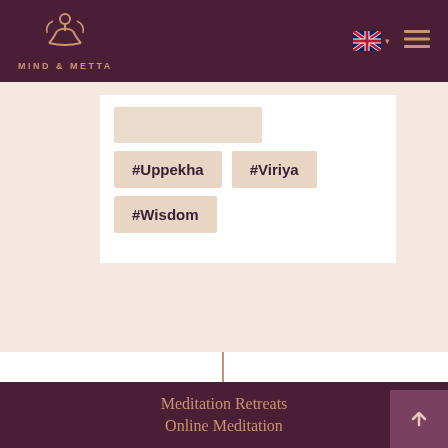MIND & METTA
#Uppekha
#Viriya
#Wisdom
Meditation Retreats
Online Meditation